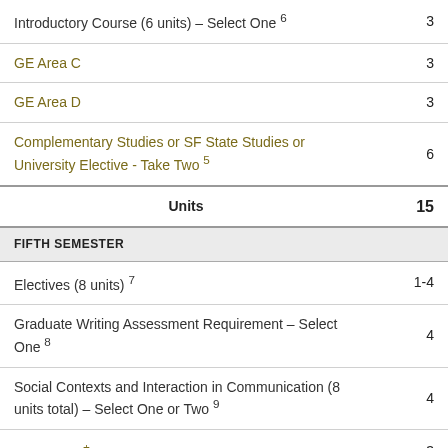| Course | Units |
| --- | --- |
| Introductory Course (6 units) – Select One 6 | 3 |
| GE Area C | 3 |
| GE Area D | 3 |
| Complementary Studies or SF State Studies or University Elective - Take Two 5 | 6 |
| Units | 15 |
| FIFTH SEMESTER |  |
| Electives (8 units) 7 | 1-4 |
| Graduate Writing Assessment Requirement – Select One 8 | 4 |
| Social Contexts and Interaction in Communication (8 units total) – Select One or Two 9 | 4 |
| GE Area F ± | 3 |
| U.S. and California Government |  |
| Units | 15-18 |